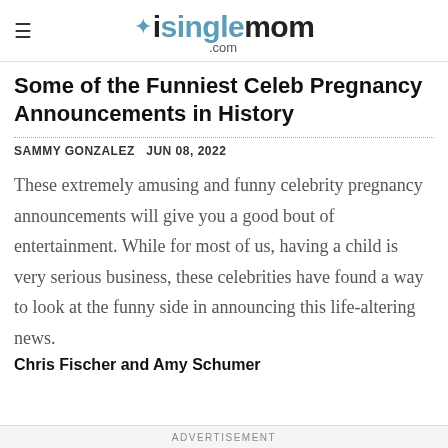isinglemom.com
Some of the Funniest Celeb Pregnancy Announcements in History
SAMMY GONZALEZ  JUN 08, 2022
These extremely amusing and funny celebrity pregnancy announcements will give you a good bout of entertainment. While for most of us, having a child is very serious business, these celebrities have found a way to look at the funny side in announcing this life-altering news.
Chris Fischer and Amy Schumer
ADVERTISEMENT